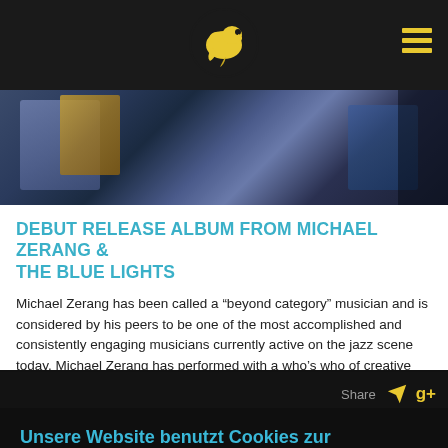[Figure (photo): Header with yellow bird/duck logo on dark background with hamburger menu icon on right]
[Figure (photo): Hero image showing colorful artistic album artwork with blue and gold tones]
DEBUT RELEASE ALBUM FROM MICHAEL ZERANG & THE BLUE LIGHTS
Michael Zerang has been called a “beyond category” musician and is considered by his peers to be one of the most accomplished and consistently engaging musicians currently active on the jazz scene today. Michael Zerang has performed with a who’s who of creative musicians spanning two continents. He resume includes work with fellow Chicago-Based...
Unsere Website benutzt Cookies zur Verbesserung Ihrer Nutzererfahrung. Details
Verstanden